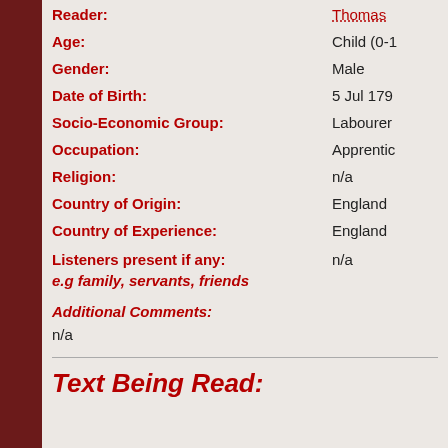Reader: Thomas
Age: Child (0-1
Gender: Male
Date of Birth: 5 Jul 179
Socio-Economic Group: Labourer
Occupation: Apprentic
Religion: n/a
Country of Origin: England
Country of Experience: England
Listeners present if any: n/a
e.g family, servants, friends
Additional Comments:
n/a
Text Being Read: